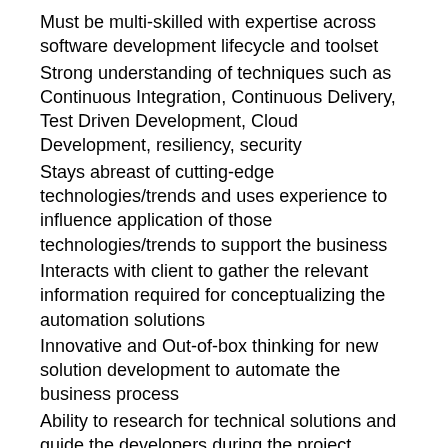Must be multi-skilled with expertise across software development lifecycle and toolset
Strong understanding of techniques such as Continuous Integration, Continuous Delivery, Test Driven Development, Cloud Development, resiliency, security
Stays abreast of cutting-edge technologies/trends and uses experience to influence application of those technologies/trends to support the business
Interacts with client to gather the relevant information required for conceptualizing the automation solutions
Innovative and Out-of-box thinking for new solution development to automate the business process
Ability to research for technical solutions and guide the developers during the project implementation
Analyze business processes, identify automation opportunities, and assess automation feasibility
Analyzes complex, multi-disciplinary business problems in a large business/IT transformation project
Extensive Experience of both front office and back office